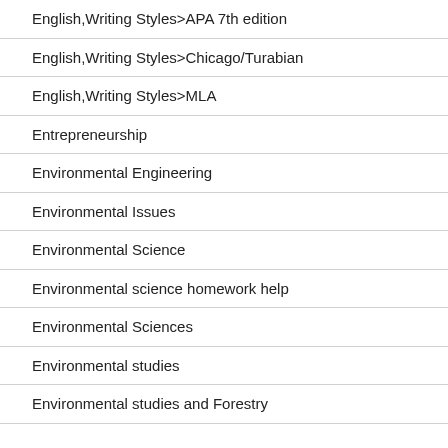English,Writing Styles>APA 7th edition
English,Writing Styles>Chicago/Turabian
English,Writing Styles>MLA
Entrepreneurship
Environmental Engineering
Environmental Issues
Environmental Science
Environmental science homework help
Environmental Sciences
Environmental studies
Environmental studies and Forestry